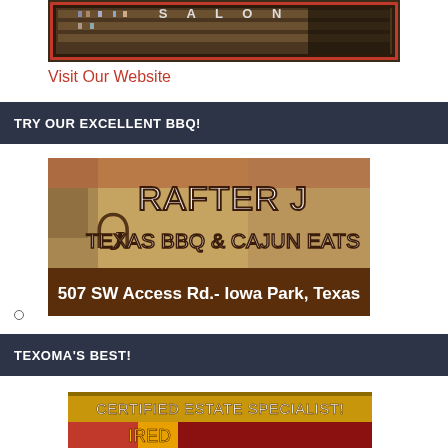[Figure (photo): Salon storefront/sign image with red border and text 'SALON' visible]
Visit Our Website
TRY OUR EXCELLENT BBQ!
[Figure (photo): Rafter J Texas BBQ & Cajun Eats sign - 507 SW Access Rd.- Iowa Park, Texas]
TEXOMA'S BEST!
[Figure (photo): Certified Estate Specialist advertisement banner, partially visible]